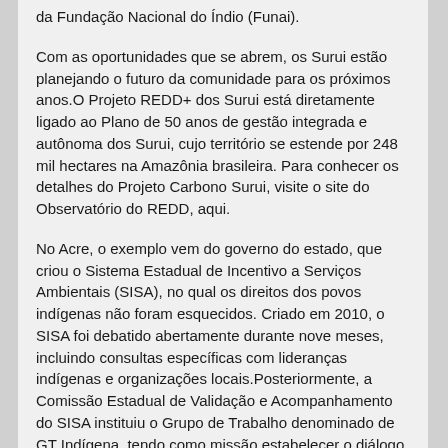da Fundação Nacional do Índio (Funai).
Com as oportunidades que se abrem, os Surui estão planejando o futuro da comunidade para os próximos anos.O Projeto REDD+ dos Surui está diretamente ligado ao Plano de 50 anos de gestão integrada e autônoma dos Surui, cujo território se estende por 248 mil hectares na Amazônia brasileira. Para conhecer os detalhes do Projeto Carbono Surui, visite o site do Observatório do REDD, aqui.
No Acre, o exemplo vem do governo do estado, que criou o Sistema Estadual de Incentivo a Serviços Ambientais (SISA), no qual os direitos dos povos indígenas não foram esquecidos. Criado em 2010, o SISA foi debatido abertamente durante nove meses, incluindo consultas específicas com lideranças indígenas e organizações locais.Posteriormente, a Comissão Estadual de Validação e Acompanhamento do SISA instituiu o Grupo de Trabalho denominado de GT Indígena, tendo como missão estabelecer o diálogo entre este sistema, as comunidades indígenas e a sociedade civil.